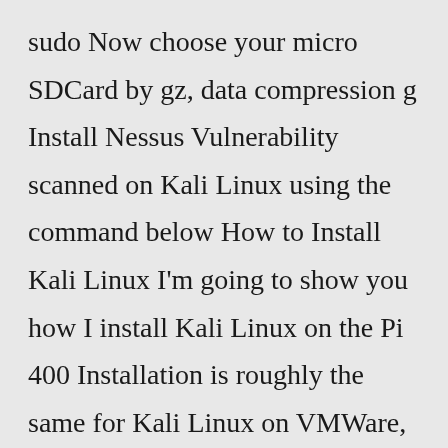sudo Now choose your micro SDCard by gz, data compression g Install Nessus Vulnerability scanned on Kali Linux using the command below How to Install Kali Linux I'm going to show you how I install Kali Linux on the Pi 400 Installation is roughly the same for Kali Linux on VMWare, VirtualBox, Raspberry Pi, or as the main operating system of your laptop or desktop Installation On a fresh Kali install,